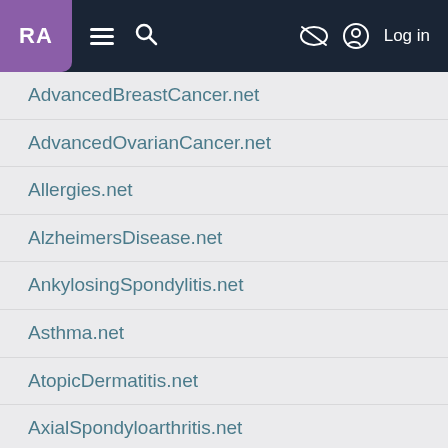RA | navigation bar with logo, hamburger menu, search, and Log in
AdvancedBreastCancer.net
AdvancedOvarianCancer.net
Allergies.net
AlzheimersDisease.net
AnkylosingSpondylitis.net
Asthma.net
AtopicDermatitis.net
AxialSpondyloarthritis.net
BladderCancer.net
Blood-Cancer.com
COPD.net
Chronic-Hives.com